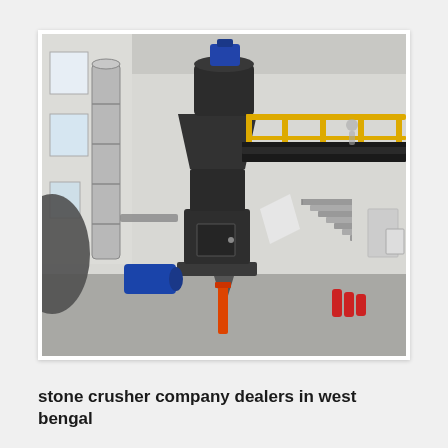[Figure (photo): Industrial interior showing a large dark-colored vertical grinding mill machine with a conical top, a silver cylindrical duct on the left, a yellow steel mezzanine/staircase structure on the right, a blue electric motor at the base, white walls, and various industrial equipment in a factory building.]
stone crusher company dealers in west bengal